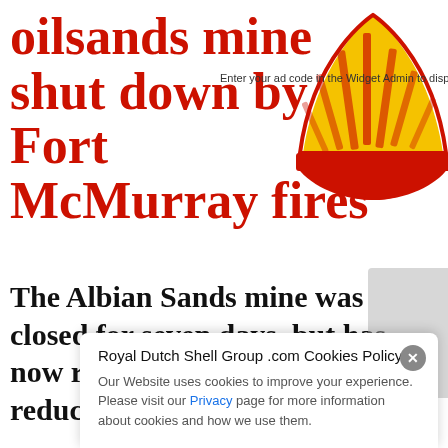oilsands mine shut down by Fort McMurray fires
Enter your ad code in the Widget Admin to display your ads here
[Figure (logo): Shell pecten logo in yellow and red]
The Albian Sands mine was closed for seven days, but has now resumed production at a reduced rate.
Royal Dutch Shell Group .com Cookies Policy
Our Website uses cookies to improve your experience. Please visit our Privacy page for more information about cookies and how we use them.